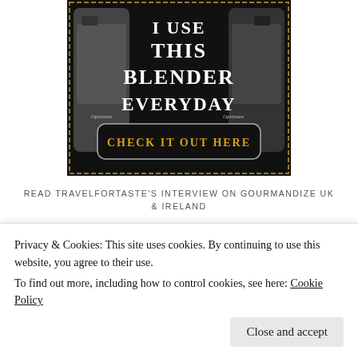[Figure (photo): Advertisement image for a blender with dark background, text 'I USE THIS BLENDER EVERYDAY' and a gold button 'CHECK IT OUT HERE']
READ TRAVELFORTASTE'S INTERVIEW ON GOURMANDIZE UK & IRELAND
[Figure (illustration): Teal 'READ' banner/button graphic]
Privacy & Cookies: This site uses cookies. By continuing to use this website, you agree to their use.
To find out more, including how to control cookies, see here:
Cookie Policy
Close and accept